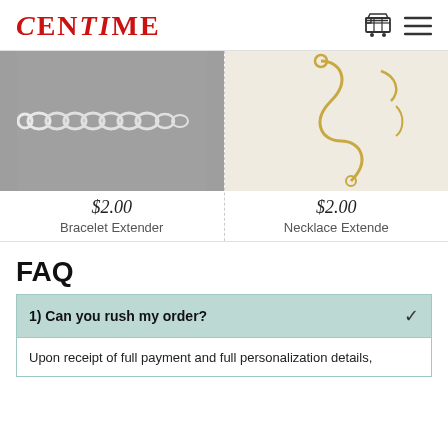CENTIME
[Figure (photo): Silver bracelet chain extender on gray background]
$2.00
Bracelet Extender
[Figure (photo): Gold necklace extender chain on white background]
$2.00
Necklace Extende
FAQ
1) Can you rush my order?
Upon receipt of full payment and full personalization details,